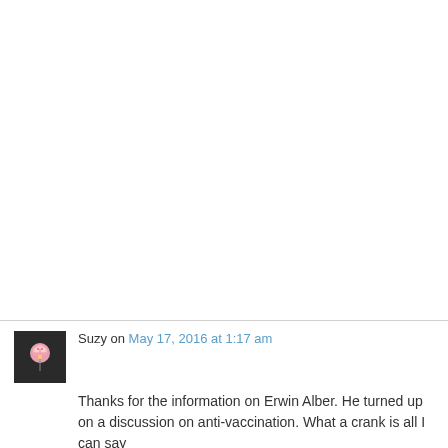[Figure (other): Large white blank area occupying upper portion of the page]
Suzy on May 17, 2016 at 1:17 am
Thanks for the information on Erwin Alber. He turned up on a discussion on anti-vaccination. What a crank is all I can say